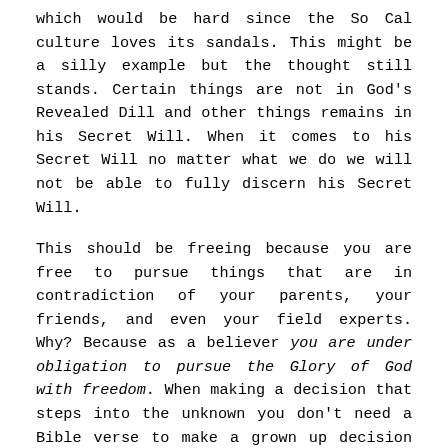which would be hard since the So Cal culture loves its sandals. This might be a silly example but the thought still stands. Certain things are not in God's Revealed Dill and other things remains in his Secret Will. When it comes to his Secret Will no matter what we do we will not be able to fully discern his Secret Will.
This should be freeing because you are free to pursue things that are in contradiction of your parents, your friends, and even your field experts. Why? Because as a believer you are under obligation to pursue the Glory of God with freedom. When making a decision that steps into the unknown you don't need a Bible verse to make a grown up decision or a charismatic moment to validate your decision. Instead you need to know that you cannot know the Secret Will of God, but you can know the revealed Will of God. Therefore you are to make